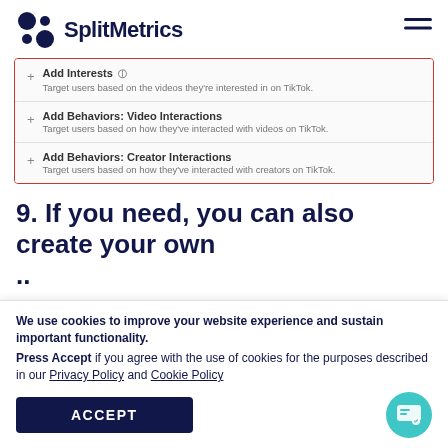SplitMetrics
[Figure (screenshot): TikTok ad targeting options panel with three rows: 'Add Interests' with info icon and description 'Target users based on the videos they're interested in on TikTok.', 'Add Behaviors: Video Interactions' with description 'Target users based on how they've interacted with videos on TikTok.', 'Add Behaviors: Creator Interactions' with description 'Target users based on how they've interacted with creators on TikTok.']
9. If you need, you can also create your own ..
We use cookies to improve your website experience and sustain important functionality. Press Accept if you agree with the use of cookies for the purposes described in our Privacy Policy and Cookie Policy
ACCEPT